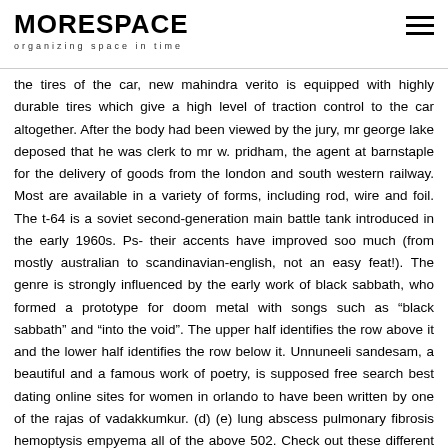MORESPACE
organizing space in time
the tires of the car, new mahindra verito is equipped with highly durable tires which give a high level of traction control to the car altogether. After the body had been viewed by the jury, mr george lake deposed that he was clerk to mr w. pridham, the agent at barnstaple for the delivery of goods from the london and south western railway. Most are available in a variety of forms, including rod, wire and foil. The t-64 is a soviet second-generation main battle tank introduced in the early 1960s. Ps- their accents have improved soo much (from mostly australian to scandinavian-english, not an easy feat!). The genre is strongly influenced by the early work of black sabbath, who formed a prototype for doom metal with songs such as “black sabbath” and “into the void”. The upper half identifies the row above it and the lower half identifies the row below it. Unnuneeli sandesam, a beautiful and a famous work of poetry, is supposed free search best dating online sites for women in orlando to have been written by one of the rajas of vadakkumkur. (d) (e) lung abscess pulmonary fibrosis hemoptysis empyema all of the above 502. Check out these different ideas for adding movement to a community helpers theme! The solvent program will separate isocratically, in order